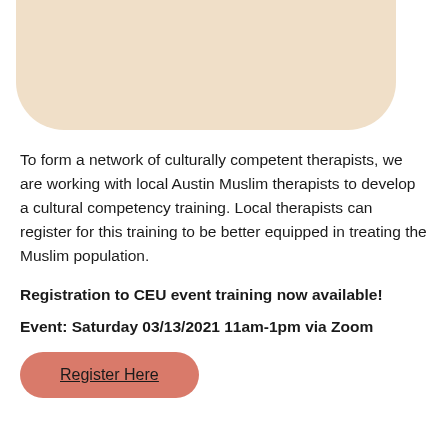[Figure (illustration): Rounded rectangle decorative shape in a warm beige/tan color at the top of the page]
To form a network of culturally competent therapists, we are working with local Austin Muslim therapists to develop a cultural competency training. Local therapists can register for this training to be better equipped in treating the Muslim population.
Registration to CEU event training now available!
Event: Saturday 03/13/2021 11am-1pm via Zoom
Register Here